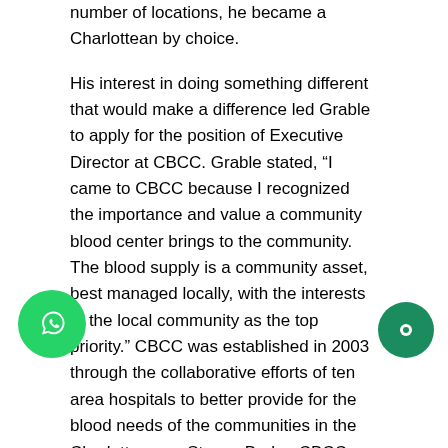number of locations, he became a Charlottean by choice.
His interest in doing something different that would make a difference led Grable to apply for the position of Executive Director at CBCC. Grable stated, “I came to CBCC because I recognized the importance and value a community blood center brings to the community. The blood supply is a community asset, best managed locally, with the interests of the local community as the top priority.” CBCC was established in 2003 through the collaborative efforts of ten area hospitals to better provide for the blood needs of the communities in the Charlotte area. Steven Burke, CBCC Board Chair said, “The Board is really excited that Martin Grable is bringing both his concern for the community and his entrepreneurial spirit to assist in meeting the blood needs for our community.”
e was born and raised in Kansas and attended the ersity of Kansas. He is married to Cathy and they ha three children: Lauren 20, Nicole 26, and Heather 30.